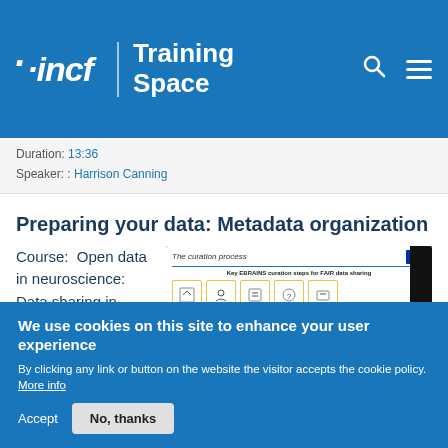incf | Training Space
Duration: 13:36
Speaker: : Harrison Canning
Preparing your data: Metadata organization
Course:  Open data in neuroscience: Data sharing in
[Figure (screenshot): Screenshot of a video slide showing 'The curation process' with 'Key EBRAINS curation steps for FAIR data sharing' and icons in yellow-bordered boxes]
We use cookies on this site to enhance your user experience
By clicking any link or button on the website the visitor accepts the cookie policy. More info
Accept   No, thanks